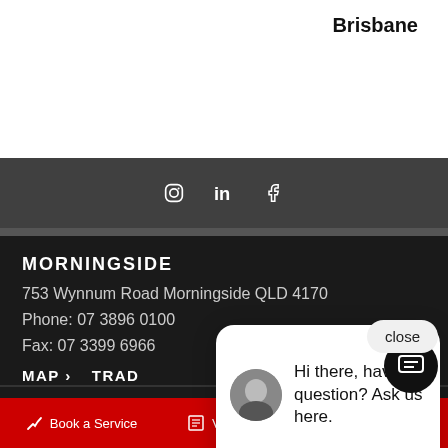Brisbane
[Figure (infographic): Social media icons: Instagram, LinkedIn, Facebook in a dark grey bar]
MORNINGSIDE
753 Wynnum Road Morningside QLD 4170
Phone: 07 3896 0100
Fax: 07 3399 6966
MAP > TRAD…
LYTTON – PAR…
68 Freight Street Lytton QLD 4178
Phone: 07 3348 4222
Hi there, have a question? Ask us here.
Book a Service   Value My Car   Calculator